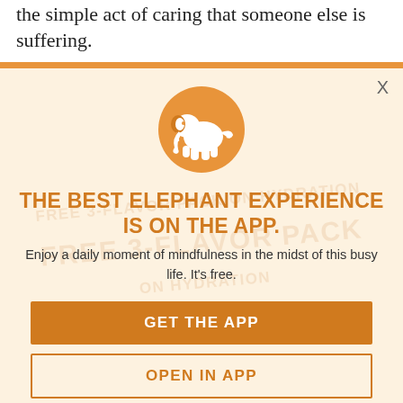the simple act of caring that someone else is suffering.
[Figure (screenshot): App promotion modal overlay with elephant logo icon, orange and cream background with watermark text 'FREE 3-FLAVOR PACK ON HYDRATION', close X button, headline, subtitle, and two call-to-action buttons]
THE BEST ELEPHANT EXPERIENCE IS ON THE APP.
Enjoy a daily moment of mindfulness in the midst of this busy life. It's free.
GET THE APP
OPEN IN APP